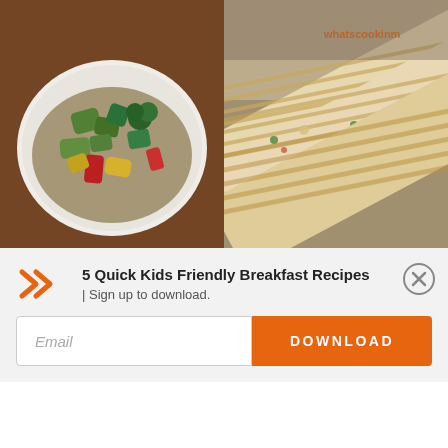[Figure (photo): Bowl of quinoa salad with colorful vegetables including avocado, red pepper, yellow pepper, cucumber and broccoli on a wooden surface]
[Figure (photo): Close-up of grilled flatbread/quesadilla with vegetables and cheese on a dark surface, with orange watermark text 'whatscookinm']
5 Quick Kids Friendly Breakfast Recipes
| Sign up to download.
Email
DOWNLOAD